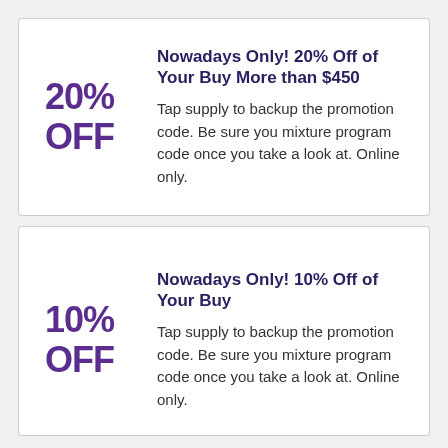Nowadays Only! 20% Off of Your Buy More than $450
Tap supply to backup the promotion code. Be sure you mixture program code once you take a look at. Online only.
Nowadays Only! 10% Off of Your Buy
Tap supply to backup the promotion code. Be sure you mixture program code once you take a look at. Online only.